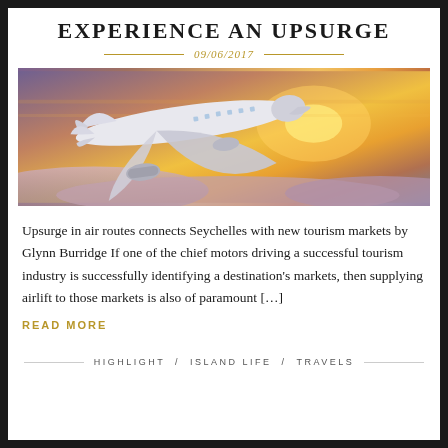EXPERIENCE AN UPSURGE
09/06/2017
[Figure (photo): Photograph of a passenger airplane flying above clouds against a sunset sky with golden and purple hues]
Upsurge in air routes connects Seychelles with new tourism markets by Glynn Burridge If one of the chief motors driving a successful tourism industry is successfully identifying a destination's markets, then supplying airlift to those markets is also of paramount […]
READ MORE
HIGHLIGHT / ISLAND LIFE / TRAVELS